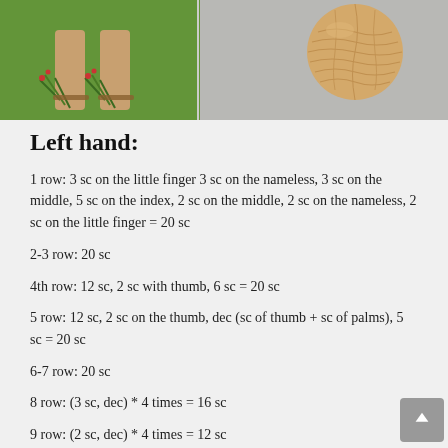[Figure (photo): Two photos side by side: left shows feet/legs of a person in a green grassy setting with plant decorations, right shows a close-up of a crocheted/knitted beige item.]
Left hand:
1 row: 3 sc on the little finger 3 sc on the nameless, 3 sc on the middle, 5 sc on the index, 2 sc on the middle, 2 sc on the nameless, 2 sc on the little finger = 20 sc
2-3 row: 20 sc
4th row: 12 sc, 2 sc with thumb, 6 sc = 20 sc
5 row: 12 sc, 2 sc on the thumb, dec (sc of thumb + sc of palms), 5 sc = 20 sc
6-7 row: 20 sc
8 row: (3 sc, dec) * 4 times = 16 sc
9 row: (2 sc, dec) * 4 times = 12 sc
10 row: 6 sc, 6 psc = 12 sc